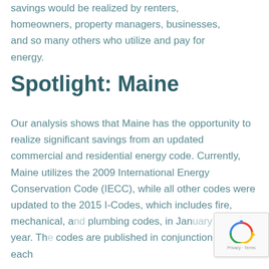savings would be realized by renters, homeowners, property managers, businesses, and so many others who utilize and pay for energy.
Spotlight: Maine
Our analysis shows that Maine has the opportunity to realize significant savings from an updated commercial and residential energy code. Currently, Maine utilizes the 2009 International Energy Conservation Code (IECC), while all other codes were updated to the 2015 I-Codes, which includes fire, mechanical, and plumbing codes, in January of this year. Th codes are published in conjunction with each